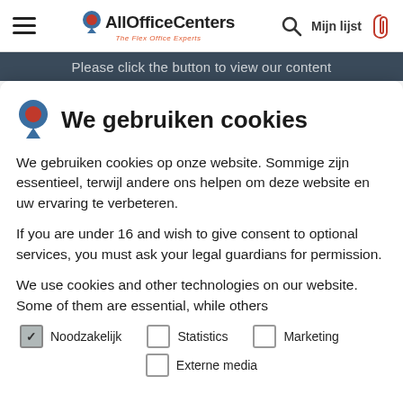AllOfficeCenters | The Flex Office Experts | Mijn lijst
Please click the button to view our content
We gebruiken cookies
We gebruiken cookies op onze website. Sommige zijn essentieel, terwijl andere ons helpen om deze website en uw ervaring te verbeteren.
If you are under 16 and wish to give consent to optional services, you must ask your legal guardians for permission.
We use cookies and other technologies on our website. Some of them are essential, while others
Noodzakelijk (checked)
Statistics
Marketing
Externe media